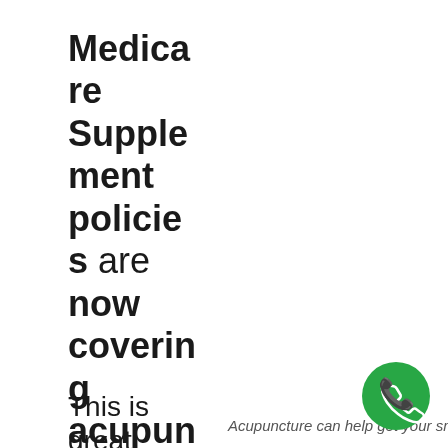Medicare Supplement policies are now covering acupuncture!
This is great news for many seniors
Acupuncture can help get your smile back!
[Figure (other): Green circular phone/call button icon in bottom-right corner]